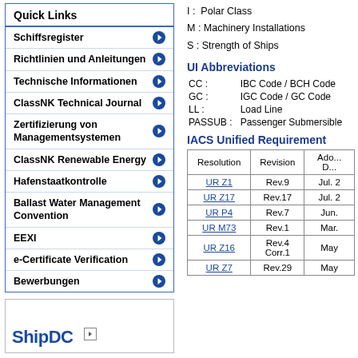Quick Links
Schiffsregister
Richtlinien und Anleitungen
Technische Informationen
ClassNK Technical Journal
Zertifizierung von Managementsystemen
ClassNK Renewable Energy
Hafenstaatkontrolle
Ballast Water Management Convention
EEXI
e-Certificate Verification
Bewerbungen
[Figure (logo): ShipDC logo with arrow]
I :  Polar Class
M : Machinery Installations
S : Strength of Ships
UI Abbreviations
| Code | Description |
| --- | --- |
| CC : | IBC Code / BCH Code |
| GC : | IGC Code / GC Code |
| LL : | Load Line |
| PASSUB : | Passenger Submersible |
IACS Unified Requirement
| Resolution | Revision | Ado... D... |
| --- | --- | --- |
| UR Z1 | Rev.9 | Jul. 2 |
| UR Z17 | Rev.17 | Jul. 2 |
| UR P4 | Rev.7 | Jun. |
| UR M73 | Rev.1 | Mar. |
| UR Z16 | Rev.4
Corr.1 | May |
| UR Z7 | Rev.29 | May |